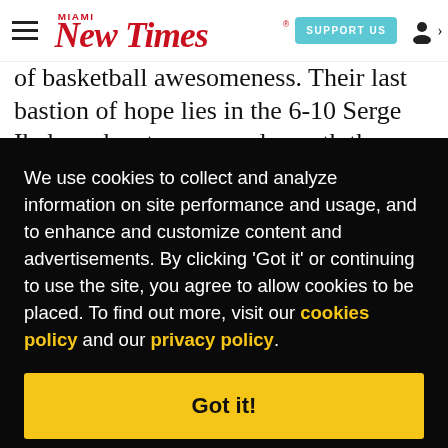Miami New Times — SUPPORT US
of basketball awesomeness. Their last bastion of hope lies in the 6-10 Serge Ibaka, who steps up underneath the basket and jumps vertically to ... as ... ning ... mier ... o get ... es an ... ns, wrote ... hot ... e a ... hat point.
We use cookies to collect and analyze information on site performance and usage, and to enhance and customize content and advertisements. By clicking 'Got it' or continuing to use the site, you agree to allow cookies to be placed. To find out more, visit our cookies policy and our privacy policy.
Got it!